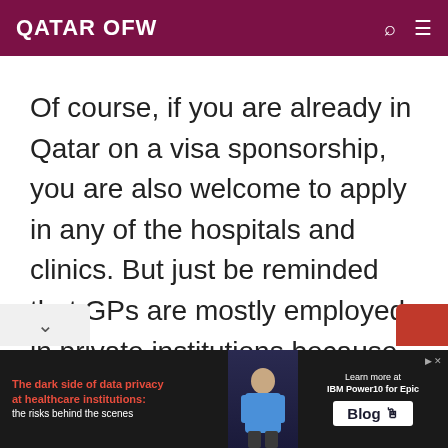QATAR OFW
Of course, if you are already in Qatar on a visa sponsorship, you are also welcome to apply in any of the hospitals and clinics. But just be reminded that GPs are mostly employed in private institutions because the government hospitals are looking for those with
[Figure (other): Advertisement banner: 'The dark side of data privacy at healthcare institutions: the risks behind the scenes' with IBM Power10 for Epic Blog link]